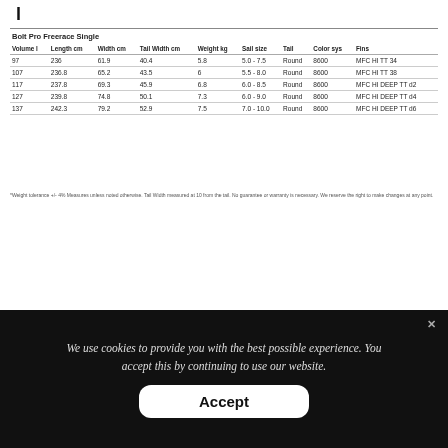Bolt Pro Freerace Single
| Volume l | Length cm | Width cm | Tail Width cm | Weight kg | Sail size | Tail | Color sys | Fins |
| --- | --- | --- | --- | --- | --- | --- | --- | --- |
| 97 | 236 | 61.9 | 40.4 | 5.8 | 5.0 - 7.5 | Round | 8600 | MFC HI TT 34 |
| 107 | 236.8 | 65.2 | 43.5 | 6 | 5.5 - 8.0 | Round | 8600 | MFC HI TT 38 |
| 117 | 237.8 | 69.3 | 45.9 | 6.8 | 6.0 - 8.5 | Round | 8600 | MFC HI DEEP TT d2 |
| 127 | 239.8 | 74.8 | 50.1 | 7.3 | 6.0 - 9.0 | Round | 8600 | MFC HI DEEP TT d4 |
| 137 | 242.3 | 79.2 | 52.9 | 7.5 | 7.0 - 10.0 | Round | 8600 | MFC HI DEEP TT d6 |
*Weight tolerance +/- 4% Measures unless noted otherwise. Tail Width measured at 10 from the tail. No guarantee or warranty is necessary. We reserve the right to make changes at any point.
We use cookies to provide you with the best possible experience. You accept this by continuing to use our website.
Accept